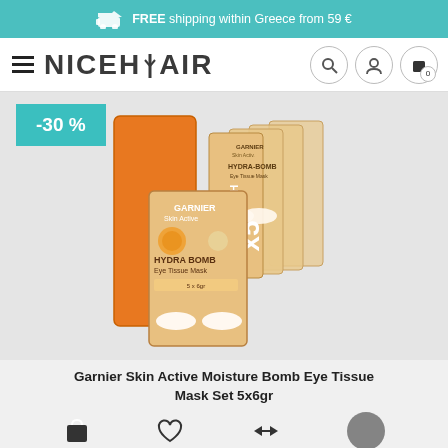FREE shipping within Greece from 59 €
[Figure (logo): NiceHair logo with hamburger menu icon]
[Figure (photo): Garnier Hydra Bomb Eye Tissue Mask set of 5 packets, with orange branding and white eye patches visible, -30% discount badge in teal]
Garnier Skin Active Moisture Bomb Eye Tissue Mask Set 5x6gr
We use cookies to ensure you get the best experience on our website. For more information about cookie click here.
ACCEPT NiceClub